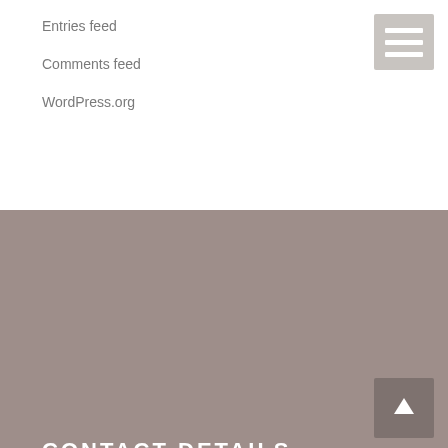Entries feed
Comments feed
WordPress.org
[Figure (other): Hamburger menu icon button with three white horizontal bars on a light grey background]
CONTACT DETAILS
Address:
Level 7, Park House 187 Macquarie Street Sydney NSW 2000
Tel:
02-9233-3546
Email:
[Figure (other): Scroll-to-top button with white upward arrow on grey background]